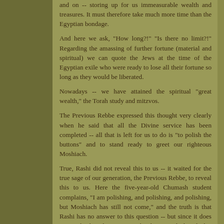and on -- storing up for us immeasurable wealth and treasures. It must therefore take much more time than the Egyptian bondage.
And here we ask, "How long?!" "Is there no limit?!" Regarding the amassing of further fortune (material and spiritual) we can quote the Jews at the time of the Egyptian exile who were ready to lose all their fortune so long as they would be liberated.
Nowadays -- we have attained the spiritual "great wealth," the Torah study and mitzvos.
The Previous Rebbe expressed this thought very clearly when he said that all the Divine service has been completed -- all that is left for us to do is "to polish the buttons" and to stand ready to greet our righteous Moshiach.
True, Rashi did not reveal this to us -- it waited for the true sage of our generation, the Previous Rebbe, to reveal this to us. Here the five-year-old Chumash student complains, "I am polishing, and polishing, and polishing, but Moshiach has still not come," and the truth is that Rashi has no answer to this question -- but since it does not apply directly to a verse he does not deal with this particular point.